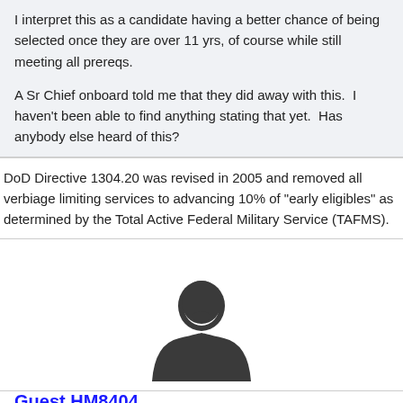I interpret this as a candidate having a better chance of being selected once they are over 11 yrs, of course while still meeting all prereqs.
A Sr Chief onboard told me that they did away with this.  I haven't been able to find anything stating that yet.  Has anybody else heard of this?
DoD Directive 1304.20 was revised in 2005 and removed all verbiage limiting services to advancing 10% of "early eligibles" as determined by the Total Active Federal Military Service (TAFMS).
[Figure (illustration): Default user avatar - dark silhouette of a person on white background]
Guest HM8404
Posted April 19, 2014
I just wanted to share a little bit of knowledge that...